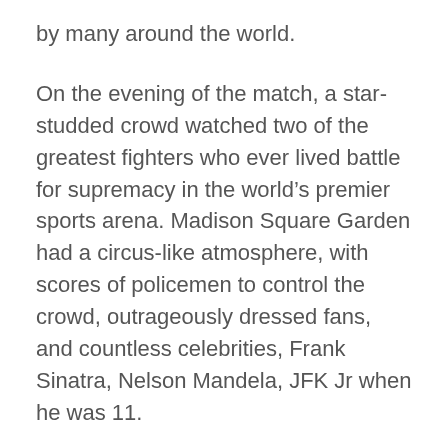by many around the world.
On the evening of the match, a star-studded crowd watched two of the greatest fighters who ever lived battle for supremacy in the world’s premier sports arena. Madison Square Garden had a circus-like atmosphere, with scores of policemen to control the crowd, outrageously dressed fans, and countless celebrities, Frank Sinatra, Nelson Mandela, JFK Jr when he was 11.
Per writer and author, KIERAN MULVANEY, History channel:
“Everybody who was anybody was there,” remembered boxing historian Bert Sugar. “They were scalping hundred-dollar tickets for a thousand dollars outside … There were people coming in with white ermine coats and matching hats, and that was just the